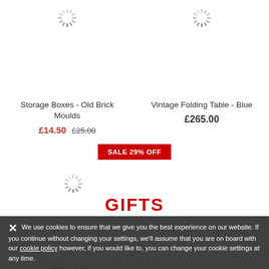[Figure (other): Loading spinner icon for Storage Boxes product image]
[Figure (other): Loading spinner icon for Vintage Folding Table product image]
Storage Boxes - Old Brick Moulds
£14.50  £25.00
Vintage Folding Table - Blue
£265.00
SALE 29% OFF
[Figure (other): Loading spinner icon for Vintage Iron product image]
Vintage Iron
£25.00  £35.00
GIFTS
We use cookies to ensure that we give you the best experience on our website. If you continue without changing your settings, we'll assume that you are on board with our cookie policy however, if you would like to, you can change your cookie settings at any time.